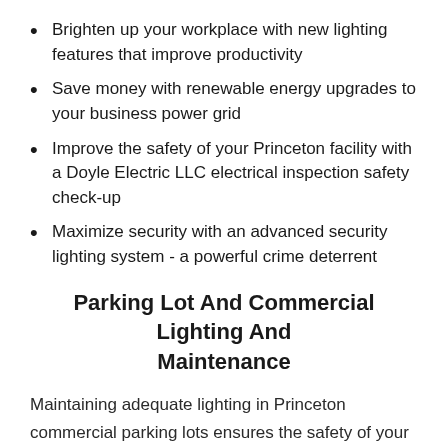Brighten up your workplace with new lighting features that improve productivity
Save money with renewable energy upgrades to your business power grid
Improve the safety of your Princeton facility with a Doyle Electric LLC electrical inspection safety check-up
Maximize security with an advanced security lighting system - a powerful crime deterrent
Parking Lot And Commercial Lighting And Maintenance
Maintaining adequate lighting in Princeton commercial parking lots ensures the safety of your employees and customers and also strengthens your business image. Doyle Electric LLC exterior commercial lighting upgrades and maintenance also help to increase your visibility by safely guiding visitors and clients directly to your door.